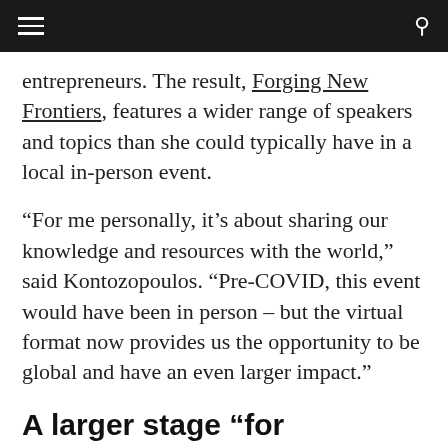Navigation bar with menu and search icons
entrepreneurs. The result, Forging New Frontiers, features a wider range of speakers and topics than she could typically have in a local in-person event.
“For me personally, it’s about sharing our knowledge and resources with the world,” said Kontozopoulos. “Pre-COVID, this event would have been in person – but the virtual format now provides us the opportunity to be global and have an even larger impact.”
A larger stage “for courageous conversations.”